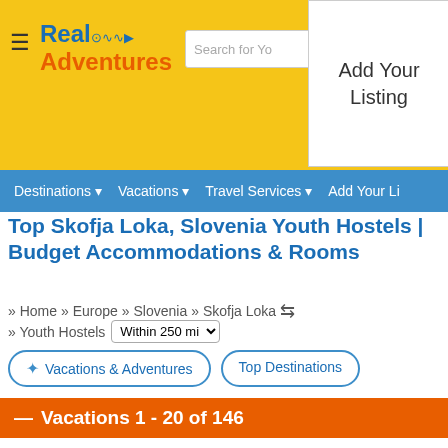Real Adventures | Search for You | Add Your Listing
Destinations ▼  Vacations ▼  Travel Services ▼  Add Your Li
Top Skofja Loka, Slovenia Youth Hostels | Budget Accommodations & Rooms
» Home  » Europe  » Slovenia  » Skofja Loka  » Youth Hostels  Within 250 mi
✦ Vacations & Adventures  |  Top Destinations
— Vacations 1 - 20 of 146
Next »   Sort By  Featured
Open air hostel NaturPlac   FROM USD